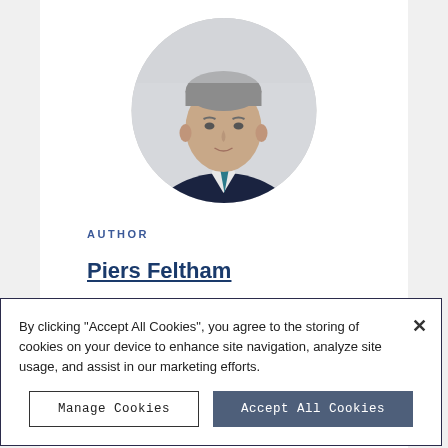[Figure (photo): Circular headshot photo of a middle-aged man with grey-streaked hair wearing a dark navy suit and teal tie, looking slightly upward, against a light background.]
AUTHOR
Piers Feltham
By clicking "Accept All Cookies", you agree to the storing of cookies on your device to enhance site navigation, analyze site usage, and assist in our marketing efforts.